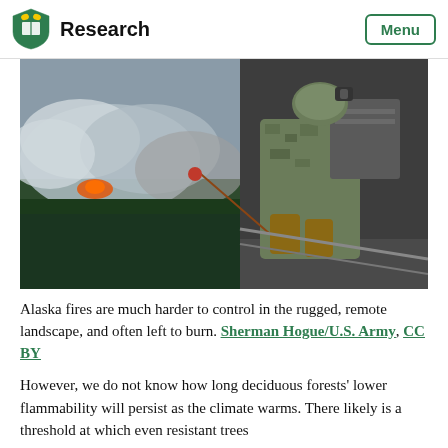Research | Menu
[Figure (photo): Aerial view from a military helicopter showing a soldier looking down at a forest fire in Alaska, with smoke rising from the trees below. The soldier is in camouflage gear seated at the open door of the helicopter.]
Alaska fires are much harder to control in the rugged, remote landscape, and often left to burn. Sherman Hogue/U.S. Army, CC BY
However, we do not know how long deciduous forests' lower flammability will persist as the climate warms. There likely is a threshold at which even resistant trees